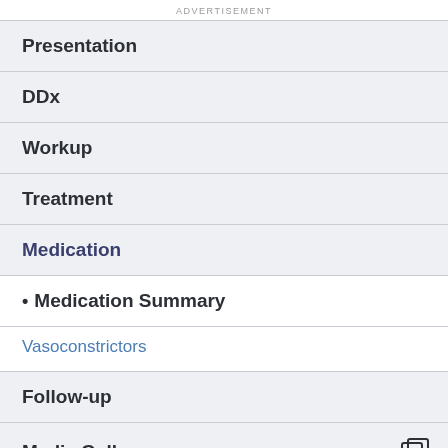ADVERTISEMENT
Presentation
DDx
Workup
Treatment
Medication
Medication Summary
Vasoconstrictors
Follow-up
Media Gallery